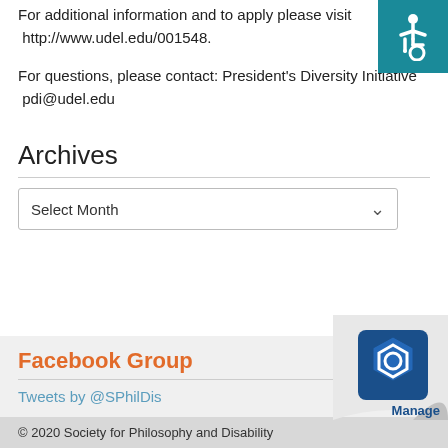For additional information and to apply please visit  http://www.udel.edu/001548.
For questions, please contact: President's Diversity Initiative  pdi@udel.edu
[Figure (other): Accessibility icon - wheelchair symbol on teal background]
Archives
Select Month
Facebook Group
Tweets by @SPhilDis
[Figure (other): Page curl effect with Manage logo in bottom right corner]
© 2020 Society for Philosophy and Disability